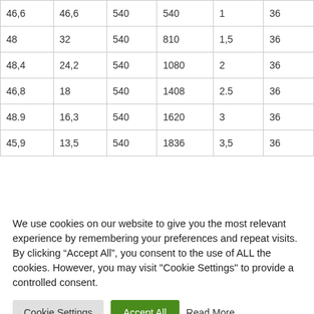| 46,6 | 46,6 | 540 | 540 | 1 | 36 |
| 48 | 32 | 540 | 810 | 1,5 | 36 |
| 48,4 | 24,2 | 540 | 1080 | 2 | 36 |
| 46,8 | 18 | 540 | 1408 | 2.5 | 36 |
| 48.9 | 16,3 | 540 | 1620 | 3 | 36 |
| 45,9 | 13,5 | 540 | 1836 | 3,5 | 36 |
We use cookies on our website to give you the most relevant experience by remembering your preferences and repeat visits. By clicking “Accept All”, you consent to the use of ALL the cookies. However, you may visit "Cookie Settings" to provide a controlled consent.